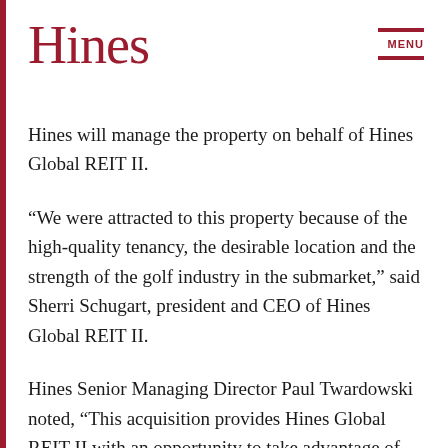Hines
Hines will manage the property on behalf of Hines Global REIT II.
“We were attracted to this property because of the high-quality tenancy, the desirable location and the strength of the golf industry in the submarket,” said Sherri Schugart, president and CEO of Hines Global REIT II.
Hines Senior Managing Director Paul Twardowski noted, “This acquisition provides Hines Global REIT II with an opportunity to take advantage of one of the strongest growth markets